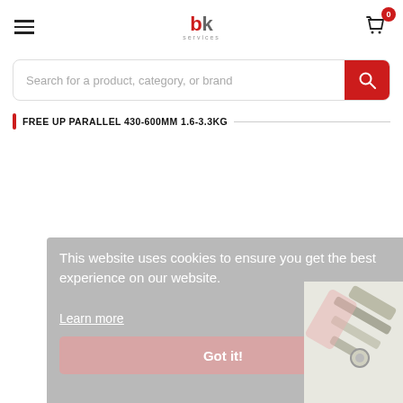bk services
Search for a product, category, or brand
FREE UP PARALLEL 430-600MM 1.6-3.3KG
This website uses cookies to ensure you get the best experience on our website. Learn more Got it!